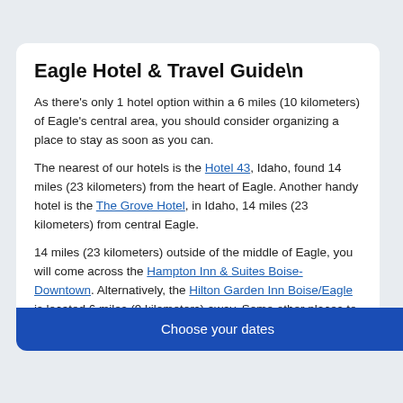Eagle Hotel & Travel Guide\n
As there's only 1 hotel option within a 6 miles (10 kilometers) of Eagle's central area, you should consider organizing a place to stay as soon as you can.
The nearest of our hotels is the Hotel 43, Idaho, found 14 miles (23 kilometers) from the heart of Eagle. Another handy hotel is the The Grove Hotel, in Idaho, 14 miles (23 kilometers) from central Eagle.
14 miles (23 kilometers) outside of the middle of Eagle, you will come across the Hampton Inn & Suites Boise-Downtown. Alternatively, the Hilton Garden Inn Boise/Eagle is located 6 miles (9 kilometers) away. Some other places to rest your head include the Residence Inn by Marriott Boise Downtown/University and the Holiday Inn Express & Suites Nampa - Idaho Center.
On your travels, how about you learn about some more of the...
Choose your dates